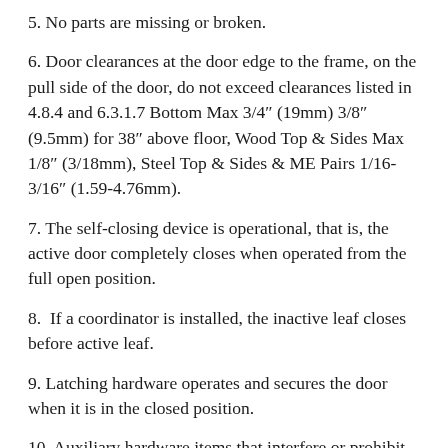5. No parts are missing or broken.
6. Door clearances at the door edge to the frame, on the pull side of the door, do not exceed clearances listed in 4.8.4 and 6.3.1.7 Bottom Max 3/4″ (19mm) 3/8″ (9.5mm) for 38″ above floor, Wood Top & Sides Max 1/8″ (3/18mm), Steel Top & Sides & ME Pairs 1/16-3/16″ (1.59-4.76mm).
7. The self-closing device is operational, that is, the active door completely closes when operated from the full open position.
8.  If a coordinator is installed, the inactive leaf closes before active leaf.
9. Latching hardware operates and secures the door when it is in the closed position.
10. Auxiliary hardware items that interfere or prohibit operation are not installed on the door or frame.